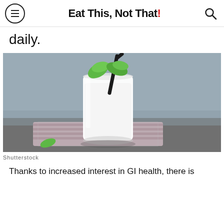Eat This, Not That!
daily.
[Figure (photo): A tall glass of white milk with a black straw and green mint leaves on top, resting on a folded striped cloth napkin on a gray surface.]
Shutterstock
Thanks to increased interest in GI health, there is